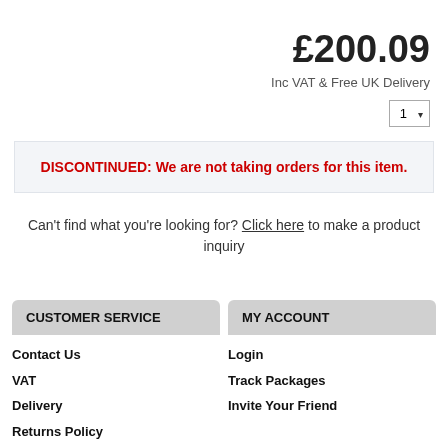£200.09
Inc VAT & Free UK Delivery
DISCONTINUED: We are not taking orders for this item.
Can't find what you're looking for? Click here to make a product inquiry
CUSTOMER SERVICE
MY ACCOUNT
Contact Us
VAT
Delivery
Returns Policy
Login
Track Packages
Invite Your Friend